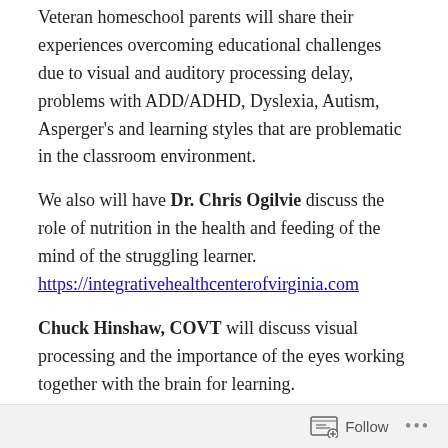Veteran homeschool parents will share their experiences overcoming educational challenges due to visual and auditory processing delay, problems with ADD/ADHD, Dyslexia, Autism, Asperger's and learning styles that are problematic in the classroom environment.
We also will have Dr. Chris Ogilvie discuss the role of nutrition in the health and feeding of the mind of the struggling learner. https://integrativehealthcenterofvirginia.com
Chuck Hinshaw, COVT will discuss visual processing and the importance of the eyes working together with the brain for learning. http://www.virginiavisiontherapycenter.com
Don Hollenbeck from Learning RX will discuss the value of cognitive skill training and how it can help the brain to...
Follow